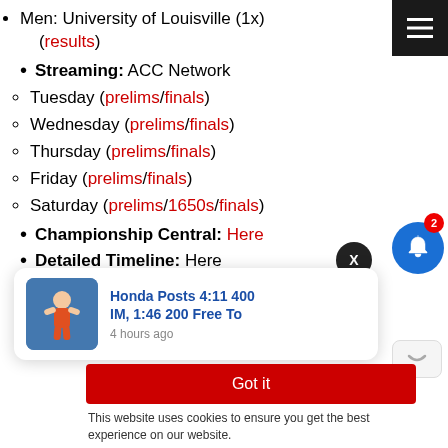Men: University of Louisville (1x) (results)
Streaming: ACC Network
Tuesday (prelims/finals)
Wednesday (prelims/finals)
Thursday (prelims/finals)
Friday (prelims/finals)
Saturday (prelims/1650s/finals)
Championship Central: Here
Detailed Timeline: Here
Psych Shoots: Here
[Figure (screenshot): Popup notification card showing swimmer image with text 'Honda Posts 4:11 400 IM, 1:46 200 Free To' and timestamp '4 hours ago', overlaid on page with Got it button and cookie consent bar]
This website uses cookies to ensure you get the best experience on our website.